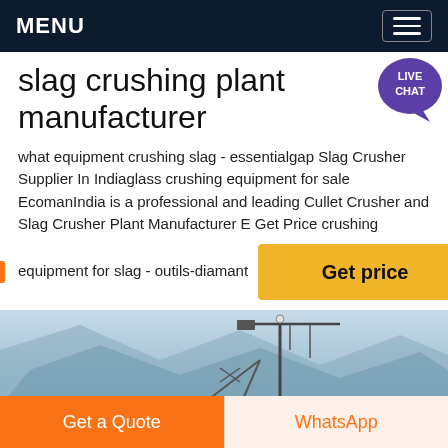MENU
slag crushing plant manufacturer
what equipment crushing slag - essentialgap Slag Crusher Supplier In Indiaglass crushing equipment for sale EcomanIndia is a professional and leading Cullet Crusher and Slag Crusher Plant Manufacturer E Get Price crushing equipment for slag - outils-diamant
[Figure (photo): Industrial crane or construction equipment against a misty mountain background]
Get a Quote | WhatsApp